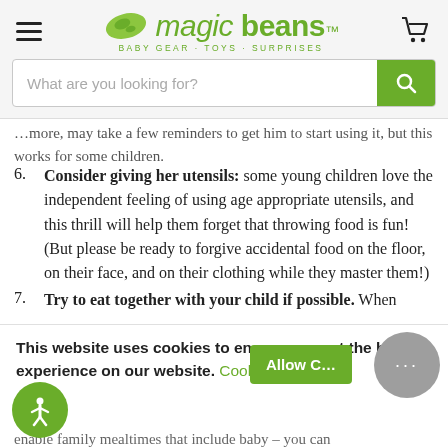Magic Beans - BABY GEAR · TOYS · SURPRISES
What are you looking for?
…more, may take a few reminders to get him to start using it, but this works for some children.
6. Consider giving her utensils: some young children love the independent feeling of using age appropriate utensils, and this thrill will help them forget that throwing food is fun! (But please be ready to forgive accidental food on the floor, on their face, and on their clothing while they master them!)
7. Try to eat together with your child if possible. When
This website uses cookies to ensure you get the best experience on our website. Cookie Policy
Allow C…
enable family mealtimes that include baby – you can